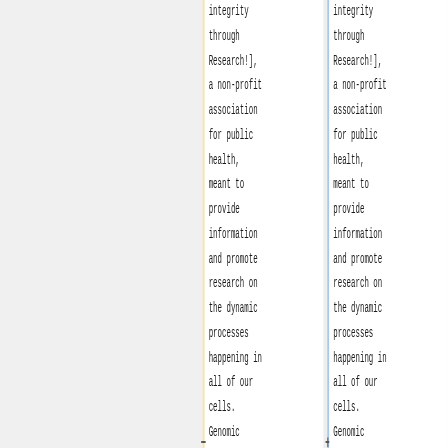integrity through Research!], a non-profit association for public health, meant to provide information and promote research on the dynamic processes happening in all of our cells. Genomic integrity is about much more than just DNA...
integrity through Research!], a non-profit association for public health, meant to provide information and promote research on the dynamic processes happening in all of our cells. Genomic integrity is about much more than just DNA...